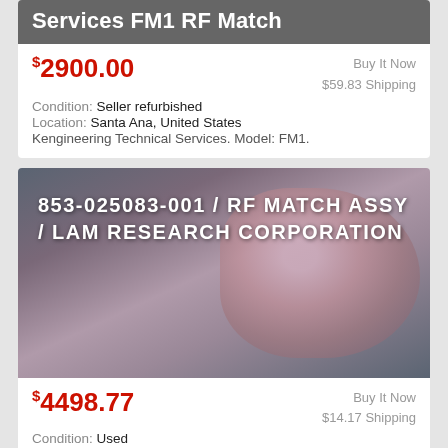[Figure (screenshot): Top portion of product listing card showing title text 'Services FM1 RF Match' on grey background]
$2900.00 | Buy It Now $59.83 Shipping | Condition: Seller refurbished | Location: Santa Ana, United States | Kengineering Technical Services. Model: FM1.
[Figure (photo): Photo of an electronic RF Match assembly (853-025083-001) wrapped in pink plastic, placed on blue grid surface. Text overlay reads: 853-025083-001 / RF MATCH ASSY / LAM RESEARCH CORPORATION]
$4498.77 | Buy It Now $14.17 Shipping | Condition: Used